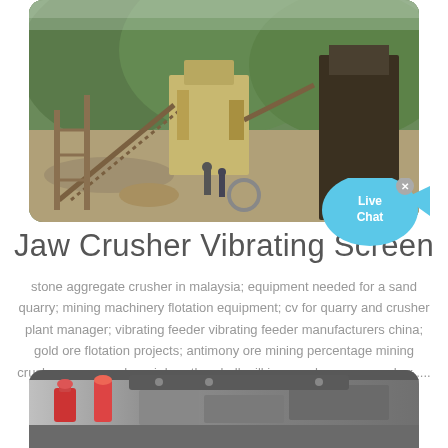[Figure (photo): Outdoor jaw crusher and vibrating screen plant setup with conveyors, structural framework, and workers, set against a forested mountain background]
Jaw Crusher Vibrating Screen
stone aggregate crusher in malaysia; equipment needed for a sand quarry; mining machinery flotation equipment; cv for quarry and crusher plant manager; vibrating feeder vibrating feeder manufacturers china; gold ore flotation projects; antimony ore mining percentage mining crusher; cone crusher air breather; ball mill jaw crusher cone crusher ....
[Figure (photo): Close-up of industrial machinery parts including orange-capped bolts and metal components]